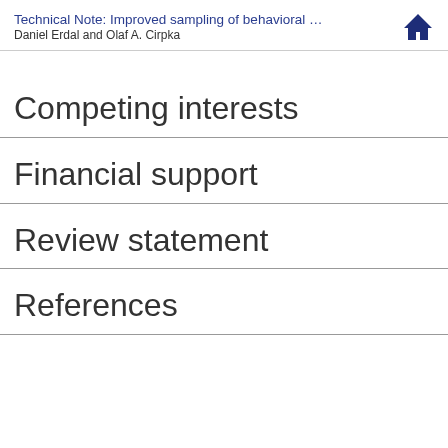Technical Note: Improved sampling of behavioral ...
Daniel Erdal and Olaf A. Cirpka
Competing interests
Financial support
Review statement
References